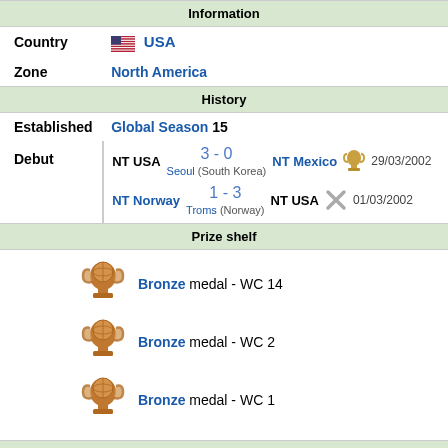Information
| Country | 🇺🇸 USA |
| Zone | North America |
History
| Established | Global Season 15 |
| Debut | NT USA 3 - 0 NT Mexico Seoul (South Korea) 29/03/2002 | NT Norway 1 - 3 NT USA Troms (Norway) 01/03/2002 |
Prize shelf
Bronze medal - WC 14
Bronze medal - WC 2
Bronze medal - WC 1
Kit
[Figure (illustration): Four football kit jerseys for NT USA: two white home kits and two dark navy away kits. One white jersey has red/blue dotted pattern, another says USA 9. The dark jerseys show number 1 and USA 1.]